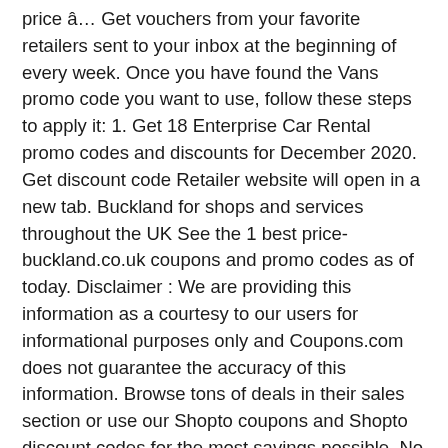price â¦ Get vouchers from your favorite retailers sent to your inbox at the beginning of every week. Once you have found the Vans promo code you want to use, follow these steps to apply it: 1. Get 18 Enterprise Car Rental promo codes and discounts for December 2020. Get discount code Retailer website will open in a new tab. Buckland for shops and services throughout the UK See the 1 best price-buckland.co.uk coupons and promo codes as of today. Disclaimer : We are providing this information as a courtesy to our users for informational purposes only and Coupons.com does not guarantee the accuracy of this information. Browse tons of deals in their sales section or use our Shopto coupons and Shopto discount codes for the most savings possible. No Ancestry discount code required. Find great deals on your next outfit with our 33 discount codes for 2020. 0115 964 0827 | sales@price-buckland.co.uk Designed by Elegant Themes | Powered by WordPress We use cookies at Price & Buckland to make sure our â¦ Bookblock ... 2020 uk.coupert.com All Right Reserved. With our unrivalled school wear solutions, our customers can trust our professional and caring approach to ensure a smart uniform is